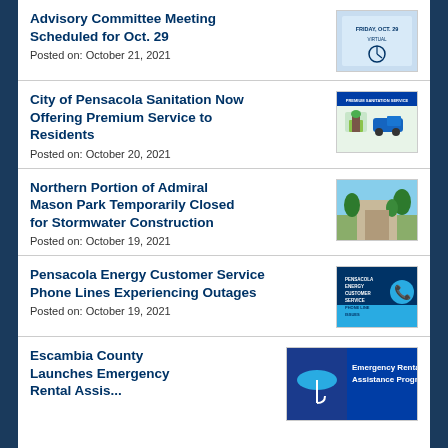Advisory Committee Meeting Scheduled for Oct. 29
Posted on: October 21, 2021
[Figure (photo): Advisory Committee Meeting Oct 29 flyer thumbnail]
City of Pensacola Sanitation Now Offering Premium Service to Residents
Posted on: October 20, 2021
[Figure (photo): Sanitation premium service infographic thumbnail with house and truck]
Northern Portion of Admiral Mason Park Temporarily Closed for Stormwater Construction
Posted on: October 19, 2021
[Figure (photo): Admiral Mason Park pathway photo thumbnail]
Pensacola Energy Customer Service Phone Lines Experiencing Outages
Posted on: October 19, 2021
[Figure (photo): Pensacola Energy Customer Service Phone Lines Outages dark blue graphic thumbnail]
Escambia County Launches Emergency Rental Assistance Program
[Figure (photo): Emergency Rental Assistance Program banner with umbrella logo]